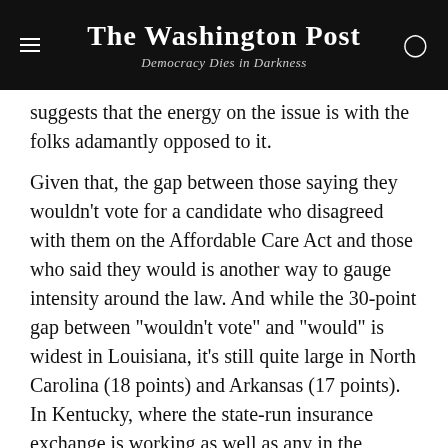The Washington Post — Democracy Dies in Darkness
suggests that the energy on the issue is with the folks adamantly opposed to it.
Given that, the gap between those saying they wouldn't vote for a candidate who disagreed with them on the Affordable Care Act and those who said they would is another way to gauge intensity around the law. And while the 30-point gap between "wouldn't vote" and "would" is widest in Louisiana, it's still quite large in North Carolina (18 points) and Arkansas (17 points). In Kentucky, where the state-run insurance exchange is working as well as any in the country, there appears to be less political heat around the law, with those who wouldn't vote for a candidate who shared their view on